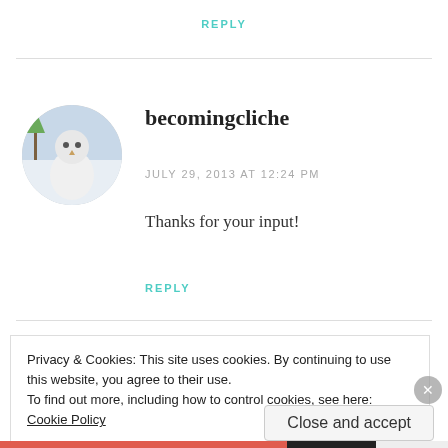REPLY
[Figure (photo): Circular avatar photo of a white bird/owl in a snowy winter scene]
becomingcliche
JULY 29, 2013 AT 12:24 PM
Thanks for your input!
REPLY
Privacy & Cookies: This site uses cookies. By continuing to use this website, you agree to their use.
To find out more, including how to control cookies, see here: Cookie Policy
Close and accept